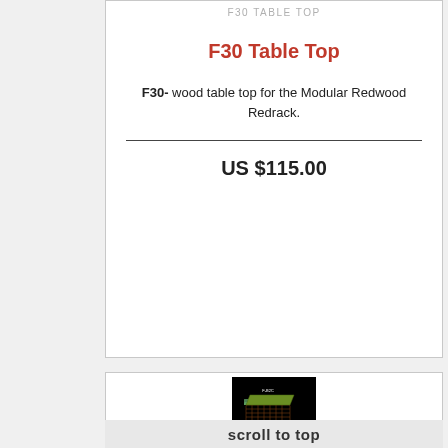F30 TABLE TOP
F30 Table Top
F30- wood table top for the Modular Redwood Redrack.
US $115.00
[Figure (photo): Product image on black background showing F30C modular redwood rack component]
scroll to top